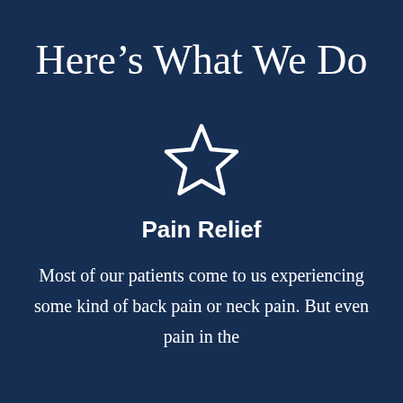Here’s What We Do
[Figure (illustration): White outline star icon on dark navy background]
Pain Relief
Most of our patients come to us experiencing some kind of back pain or neck pain. But even pain in the